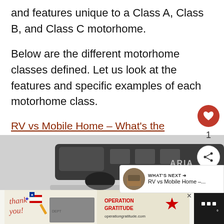and features unique to a Class A, Class B, and Class C motorhome.
Below are the different motorhome classes defined. Let us look at the features and specific examples of each motorhome class.
RV vs Mobile Home – What's the Difference Between Them?
What Is a Class A Motorhome?
[Figure (photo): Front of a Class A motorhome (ARIA brand) shown from a low angle, dark colored bus-style motorhome]
[Figure (photo): Advertisement banner: Thank you message with firefighters photo and Operation Gratitude logo]